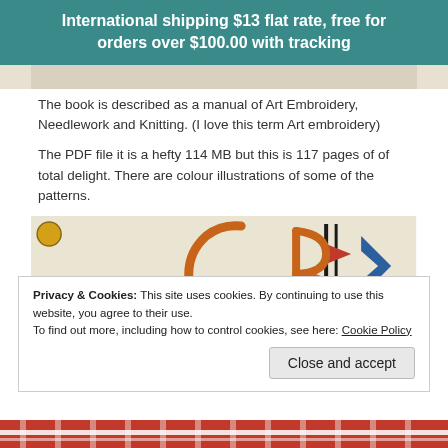International shipping $13 flat rate, free for orders over $100.00 with tracking
[Figure (photo): Partial top strip of a book or document image with beige/cream background]
The book is described as a manual of Art Embroidery, Needlework and Knitting. (I love this term Art embroidery)
The PDF file it is a hefty 114 MB but this is 117 pages of of total delight. There are colour illustrations of some of the patterns.
[Figure (photo): Colour illustration from embroidery book showing decorative lettering in orange and blue on a cream/beige background]
Privacy & Cookies: This site uses cookies. By continuing to use this website, you agree to their use. To find out more, including how to control cookies, see here: Cookie Policy
[Figure (photo): Bottom strip showing red and white striped embroidery pattern]